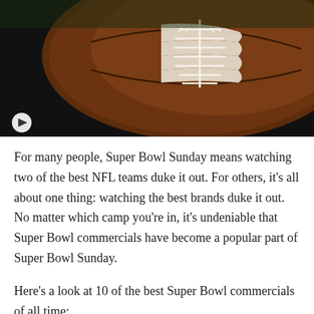[Figure (photo): Close-up photograph of an American football showing brown leather texture with white laces, on a dark background. A white play button icon is visible in the lower-left corner of the image.]
For many people, Super Bowl Sunday means watching two of the best NFL teams duke it out. For others, it’s all about one thing: watching the best brands duke it out. No matter which camp you’re in, it’s undeniable that Super Bowl commercials have become a popular part of Super Bowl Sunday.
Here’s a look at 10 of the best Super Bowl commercials of all time:
Hyundai: “A Better Super Bowl” (2017)
Hyundai’s commercial featuring our troops was